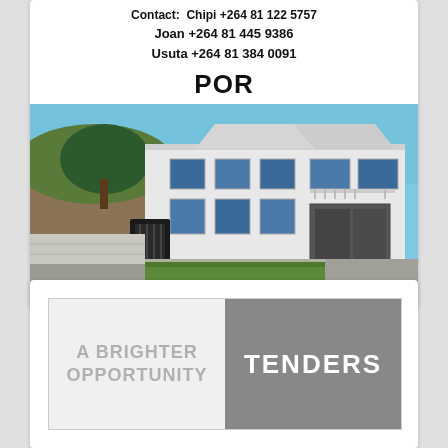Contact: Chipi +264 81 122 5757
Joan +264 81 445 9386
Usuta +264 81 384 0091
POR
[Figure (photo): Exterior photo of a modern white multi-storey residential house with large windows, iron gate, driveway, and green lawn in the foreground]
[Figure (infographic): Advertisement banner split in two halves: left light grey half reads 'A BRIGHTER OPPORTUNITY' in grey text, right dark grey half reads 'TENDERS' in white bold text]